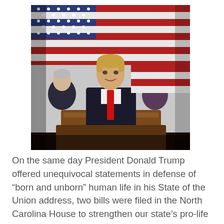[Figure (photo): President Donald Trump speaking at a podium with an American flag in the background, with Vice President Mike Pence visible on the left and Speaker Nancy Pelosi visible on the right, during a State of the Union address.]
On the same day President Donald Trump offered unequivocal statements in defense of “born and unborn” human life in his State of the Union address, two bills were filed in the North Carolina House to strengthen our state’s pro-life laws.